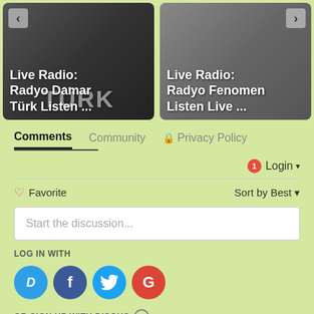[Figure (screenshot): Two radio station cards side by side. Left card shows 'Live Radio: Radyo Damar Türk Listen ...' over a dark background with TÜRK text. Right card shows 'Live Radio: Radyo Fenomen Listen Live ...' over a grey background with navigation arrows on corners.]
Comments	Community	🔒 Privacy Policy
❤ Favorite	Sort by Best ▾
Start the discussion...
LOG IN WITH
[Figure (infographic): Four social login icons in circles: Disqus (D, blue), Facebook (f, dark blue), Twitter (bird, light blue), Google (G, red)]
OR SIGN UP WITH DISQUS ?
Name